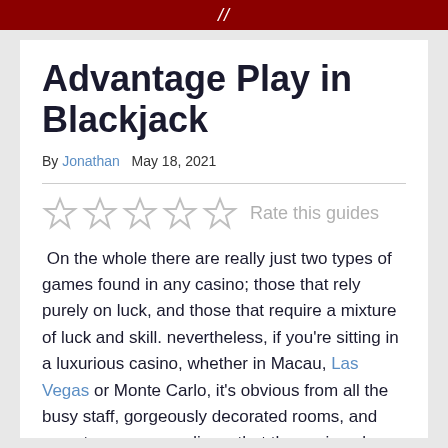//
Advantage Play in Blackjack
By Jonathan   May 18, 2021
Rate this guides
On the whole there are really just two types of games found in any casino; those that rely purely on luck, and those that require a mixture of luck and skill. nevertheless, if you're sitting in a luxurious casino, whether in Macau, Las Vegas or Monte Carlo, it's obvious from all the busy staff, gorgeously decorated rooms, and sumptuous surroundings, that the casino always wins